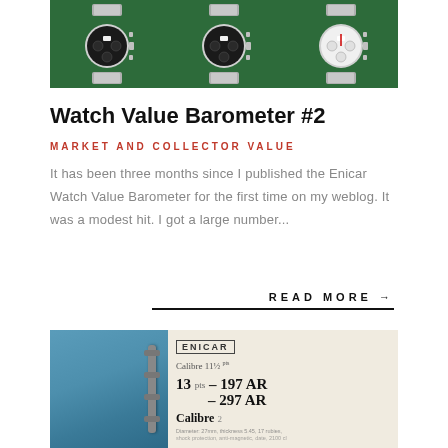[Figure (photo): Three vintage Enicar chronograph watches displayed side by side on a green background, each with black dials and metal mesh bracelets]
Watch Value Barometer #2
MARKET AND COLLECTOR VALUE
It has been three months since I published the Enicar Watch Value Barometer for the first time on my weblog. It was a modest hit. I got a large number...
READ MORE →
[Figure (photo): Close-up of an Enicar catalog or document showing text 'Calibre 11½ 13 – 197 AR – 297 AR Calibre' alongside a watch movement diagram, with a blue binder visible on the left]